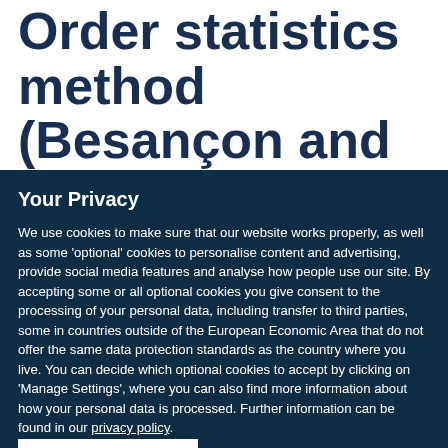Order statistics method (Besançon and Lyon,
Your Privacy
We use cookies to make sure that our website works properly, as well as some 'optional' cookies to personalise content and advertising, provide social media features and analyse how people use our site. By accepting some or all optional cookies you give consent to the processing of your personal data, including transfer to third parties, some in countries outside of the European Economic Area that do not offer the same data protection standards as the country where you live. You can decide which optional cookies to accept by clicking on 'Manage Settings', where you can also find more information about how your personal data is processed. Further information can be found in our privacy policy.
Accept all cookies
Manage preferences